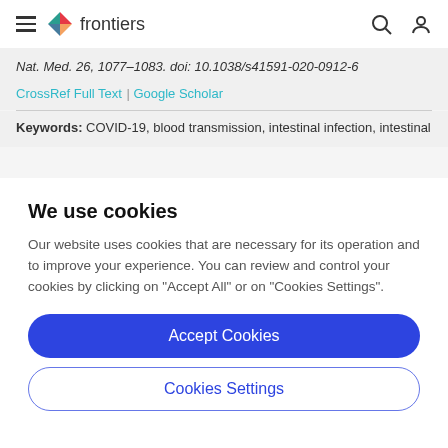frontiers
Nat. Med. 26, 1077–1083. doi: 10.1038/s41591-020-0912-6
CrossRef Full Text | Google Scholar
Keywords: COVID-19, blood transmission, intestinal infection, intestinal
We use cookies
Our website uses cookies that are necessary for its operation and to improve your experience. You can review and control your cookies by clicking on "Accept All" or on "Cookies Settings".
Accept Cookies
Cookies Settings